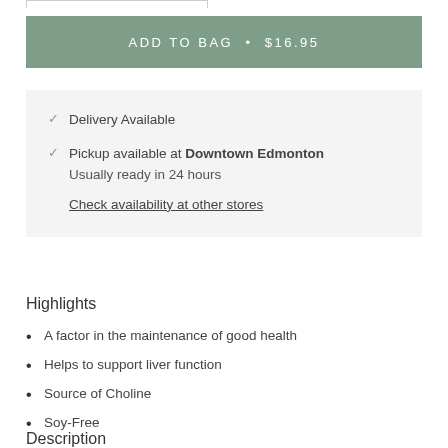ADD TO BAG • $16.95
✓ Delivery Available
✓ Pickup available at Downtown Edmonton
Usually ready in 24 hours
Check availability at other stores
Highlights
A factor in the maintenance of good health
Helps to support liver function
Source of Choline
Soy-Free
Description